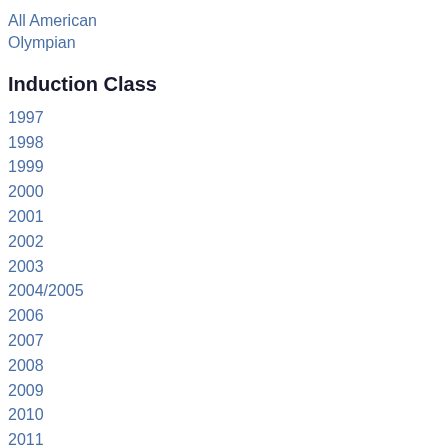All American
Olympian
Induction Class
1997
1998
1999
2000
2001
2002
2003
2004/2005
2006
2007
2008
2009
2010
2011